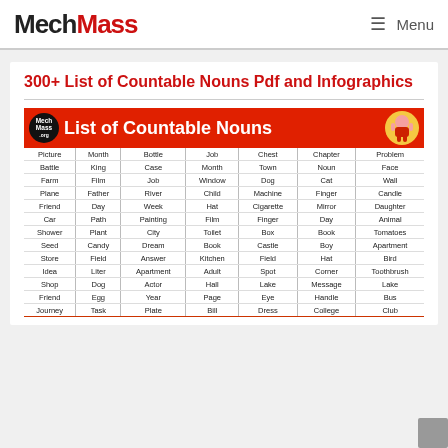MechMass  Menu
300+ List of Countable Nouns Pdf and Infographics
[Figure (infographic): Infographic titled 'List of Countable Nouns' on red background with MechMass logo. Contains a 7-column table of countable nouns: Picture, Month, Bottle, Job, Chest, Chapter, Problem; Battle, King, Case, Month, Town, Noun, Face; Farm, Film, Job, Window, Dog, Cat, Wall; Plane, Father, River, Child, Machine, Finger, Candle; Friend, Day, Week, Hat, Cigarette, Mirror, Daughter; Car, Path, Painting, Film, Finger, Day, Animal; Shower, Plant, City, Toilet, Box, Book, Tomatoes; Seed, Candy, Dream, Book, Castle, Boy, Apartment; Store, Field, Answer, Kitchen, Field, Hat, Bird; Idea, Liter, Apartment, Adult, Spot, Corner, Toothbrush; Shop, Dog, Actor, Hall, Lake, Message, Lake; Friend, Egg, Year, Page, Eye, Handle, Bus; Journey, Task, Plate, Bill, Dress, College, Club]